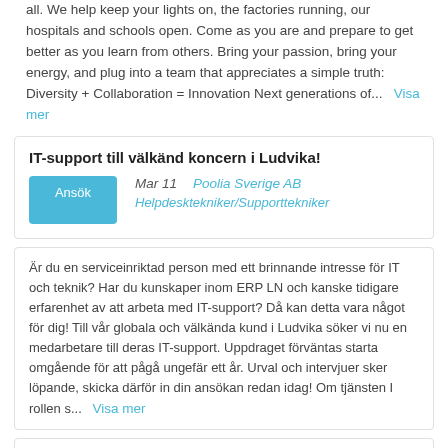all. We help keep your lights on, the factories running, our hospitals and schools open. Come as you are and prepare to get better as you learn from others. Bring your passion, bring your energy, and plug into a team that appreciates a simple truth: Diversity + Collaboration = Innovation Next generations of...  Visa mer
IT-support till välkänd koncern i Ludvika!
Mar 11   Poolia Sverige AB   Helpdesktekniker/Supporttekniker
Är du en serviceinriktad person med ett brinnande intresse för IT och teknik? Har du kunskaper inom ERP LN och kanske tidigare erfarenhet av att arbeta med IT-support? Då kan detta vara något för dig! Till vår globala och välkända kund i Ludvika söker vi nu en medarbetare till deras IT-support. Uppdraget förväntas starta omgående för att pågå ungefär ett år. Urval och intervjuer sker löpande, skicka därför in din ansökan redan idag! Om tjänsten I rollen s...  Visa mer
IT-support till välkänd koncern i Ludvika!
Feb 18   Poolia Sverige AB   Helpdesktekniker/Supporttekniker
Är du en serviceinriktad person med ett brinnande intresse för IT och teknik?